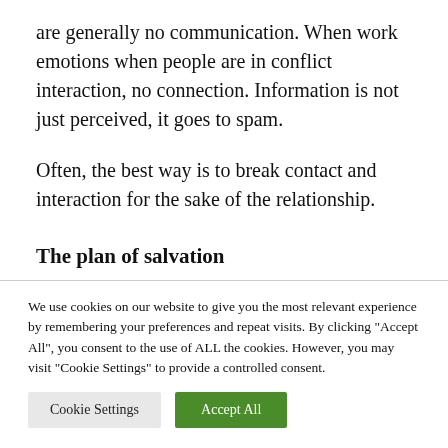are generally no communication. When work emotions when people are in conflict interaction, no connection. Information is not just perceived, it goes to spam.
Often, the best way is to break contact and interaction for the sake of the relationship.
The plan of salvation
We use cookies on our website to give you the most relevant experience by remembering your preferences and repeat visits. By clicking "Accept All", you consent to the use of ALL the cookies. However, you may visit "Cookie Settings" to provide a controlled consent.